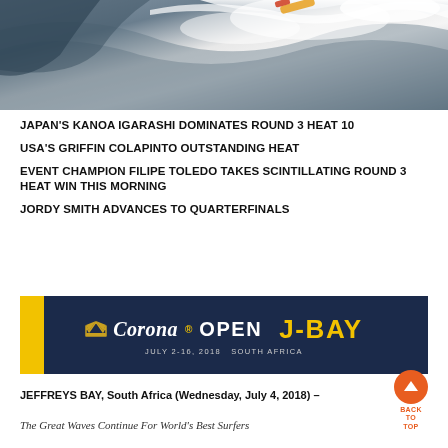[Figure (photo): Aerial or close-up action shot of a surfer riding a large wave with white water spray]
JAPAN'S KANOA IGARASHI DOMINATES ROUND 3 HEAT 10
USA'S GRIFFIN COLAPINTO OUTSTANDING HEAT
EVENT CHAMPION FILIPE TOLEDO TAKES SCINTILLATING ROUND 3 HEAT WIN THIS MORNING
JORDY SMITH ADVANCES TO QUARTERFINALS
[Figure (logo): Corona Open J-Bay event banner. Dark navy background with yellow left accent bar. Corona logo with crown, 'Corona OPEN J-BAY' text in white and gold. Subtitle: JULY 2-16, 2018  SOUTH AFRICA]
JEFFREYS BAY, South Africa (Wednesday, July 4, 2018) –
The Great Waves Continue For World's Best Surfers